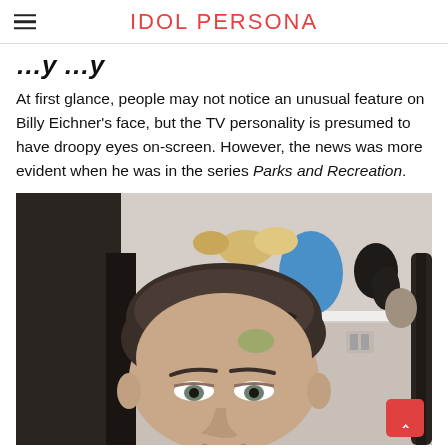IDOL PERSONA
…y …y
At first glance, people may not notice an unusual feature on Billy Eichner's face, but the TV personality is presumed to have droopy eyes on-screen. However, the news was more evident when he was in the series Parks and Recreation.
[Figure (photo): Close-up photo of a man with dark wavy hair in what appears to be a hair/wardrobe room with wigs and mannequin heads visible on shelves in the background.]